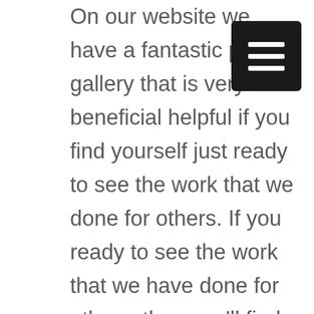[Figure (other): Black hamburger menu button (three white horizontal lines on dark background) in top-right corner]
On our website we have a fantastic photo gallery that is very beneficial helpful if you find yourself just ready to see the work that we done for others. If you ready to see the work that we have done for others, then you'll find that this is very amazing for you. We would you know that you can trust us and that you come us when it comes to getting those results and no solutions that really can move things for for you. We want to help you overcome those difficult challenges simply by connecting with us.
We understand is not every day that you find a team of people that are like professionals